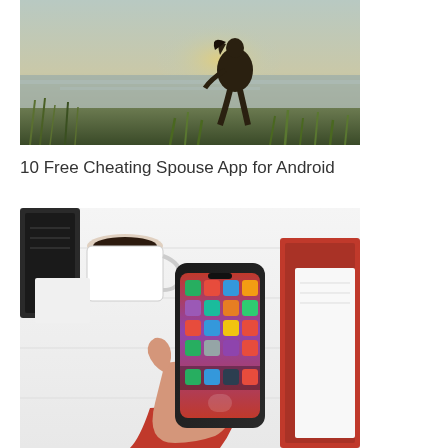[Figure (photo): A silhouette of a person sitting by water with grass in the foreground, backlit by warm sunset light]
10 Free Cheating Spouse App for Android
[Figure (photo): A hand in a red sleeve holding a smartphone displaying app icons on its home screen, on a white wooden table with a coffee cup and notebooks]